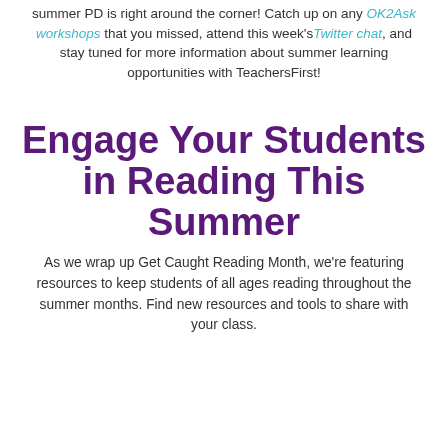summer PD is right around the corner! Catch up on any OK2Ask workshops that you missed, attend this week's Twitter chat, and stay tuned for more information about summer learning opportunities with TeachersFirst!
Engage Your Students in Reading This Summer
As we wrap up Get Caught Reading Month, we're featuring resources to keep students of all ages reading throughout the summer months. Find new resources and tools to share with your class.